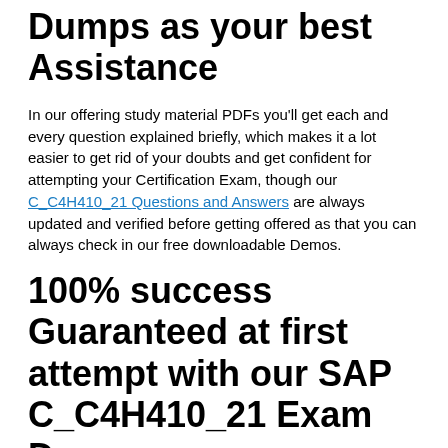Dumps as your best Assistance
In our offering study material PDFs you'll get each and every question explained briefly, which makes it a lot easier to get rid of your doubts and get confident for attempting your Certification Exam, though our C_C4H410_21 Questions and Answers are always updated and verified before getting offered as that you can always check in our free downloadable Demos.
100% success Guaranteed at first attempt with our SAP C_C4H410_21 Exam Dumps
We have our team of Expert Certified Professionals who always make sure by conforming each and every point must be accurate, our experts are well experienced in the field of IT and many of them are also Lecturers rest are those who are working in different IT organization from about 6-8 years so they always put their effort and use their knowledge gained by experience to provide our